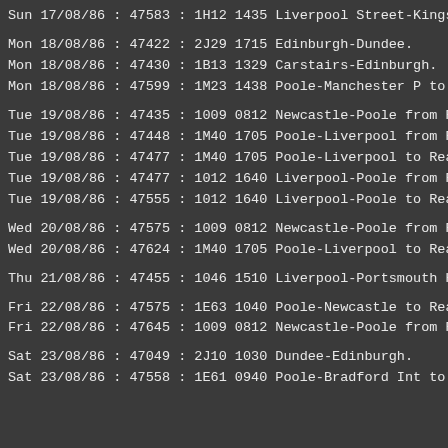Sun 17/08/86 : 47583 : 1H12 1435 Liverpool Street-Kings
Mon 18/08/86 : 47422 : 2J29 1715 Edinburgh-Dundee.
Mon 18/08/86 : 47430 : 1B13 1329 Carstairs-Edinburgh.
Mon 18/08/86 : 47599 : 1M23 1438 Poole-Manchester P to R
Tue 19/08/86 : 47435 : 1009 0812 Newcastle-Poole from Re
Tue 19/08/86 : 47448 : 1M40 1705 Poole-Liverpool from Re
Tue 19/08/86 : 47477 : 1M40 1705 Poole-Liverpool to Read
Tue 19/08/86 : 47477 : 1012 1640 Liverpool-Poole from Re
Tue 19/08/86 : 47555 : 1012 1640 Liverpool-Poole to Read
Wed 20/08/86 : 47575 : 1009 0812 Newcastle-Poole from Re
Wed 20/08/86 : 47624 : 1M40 1705 Poole-Liverpool to Read
Thu 21/08/86 : 47455 : 1046 1510 Liverpool-Portsmouth Ha
Fri 22/08/86 : 47575 : 1E63 1040 Poole-Newcastle to Read
Fri 22/08/86 : 47645 : 1009 0812 Newcastle-Poole from Re
Sat 23/08/86 : 47049 : 2J10 1030 Dundee-Edinburgh.
Sat 23/08/86 : 47558 : 1E61 0940 Poole-Bradford Int to R